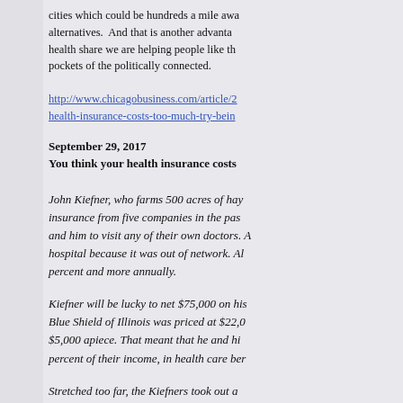cities which could be hundreds a mile away alternatives. And that is another advantage health share we are helping people like th pockets of the politically connected.
http://www.chicagobusiness.com/article/2 health-insurance-costs-too-much-try-bein
September 29, 2017
You think your health insurance costs
John Kiefner, who farms 500 acres of hay insurance from five companies in the pas and him to visit any of their own doctors. A hospital because it was out of network. Al percent and more annually.
Kiefner will be lucky to net $75,000 on his Blue Shield of Illinois was priced at $22,0 $5,000 apiece. That meant that he and hi percent of their income, in health care ber
Stretched too far, the Kiefners took out a offered by Golden Rule Insurance that do compliant with the Affordable Care Act, be both of them, it was affordable.